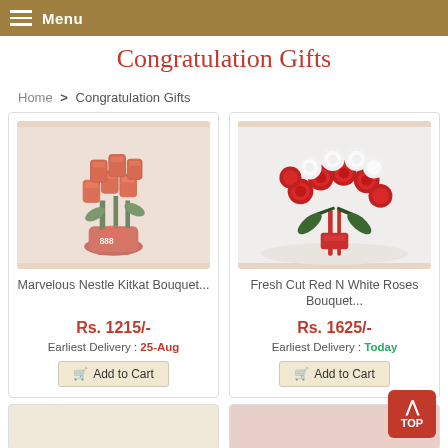Menu
Congratulation Gifts
Home > Congratulation Gifts
[Figure (photo): Marvelous Nestle KitKat Bouquet product image with red/orange flowers and KitKat chocolate bars]
Marvelous Nestle Kitkat Bouquet...
Rs. 1215/-
Earliest Delivery : 25-Aug
Add to Cart
[Figure (photo): Fresh Cut Red N White Roses Bouquet product image with red and white roses arrangement]
Fresh Cut Red N White Roses Bouquet...
Rs. 1625/-
Earliest Delivery : Today
Add to Cart